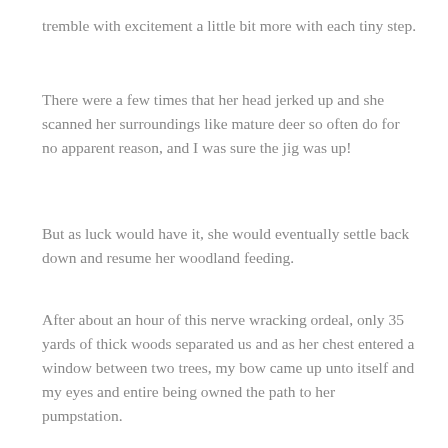tremble with excitement a little bit more with each tiny step.
There were a few times that her head jerked up and she scanned her surroundings like mature deer so often do for no apparent reason, and I was sure the jig was up!
But as luck would have it, she would eventually settle back down and resume her woodland feeding.
After about an hour of this nerve wracking ordeal, only 35 yards of thick woods separated us and as her chest entered a window between two trees, my bow came up unto itself and my eyes and entire being owned the path to her pumpstation.
The entire universe consisted of deer, opening, anchor, pin, peep, hand, fingers spirit. In an instant my arrow was gone.
With the increased visibility of my black and white Nugent Gold Tip